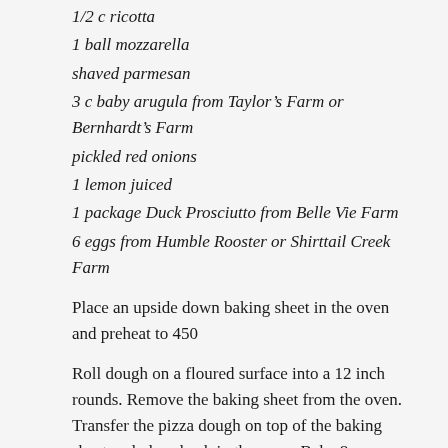1/2 c ricotta
1 ball mozzarella
shaved parmesan
3 c baby arugula from Taylor’s Farm or Bernhardt’s Farm
pickled red onions
1 lemon juiced
1 package Duck Prosciutto from Belle Vie Farm
6 eggs from Humble Rooster or Shirttail Creek Farm
Place an upside down baking sheet in the oven and preheat to 450
Roll dough on a floured surface into a 12 inch rounds. Remove the baking sheet from the oven. Transfer the pizza dough on top of the baking sheet and place back in the oven. Bake 8 minutes.